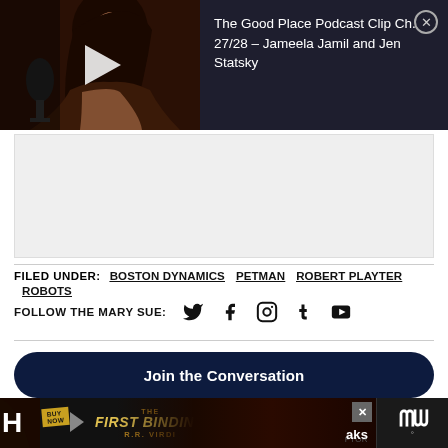[Figure (screenshot): Video thumbnail showing a woman with dark hair near a microphone, with a play button overlay, on dark background. Title reads: The Good Place Podcast Clip Ch. 27/28 - Jameela Jamil and Jen Statsky]
[Figure (other): Grey advertisement placeholder block]
FILED UNDER: boston dynamics  PETMAN  Robert Playter  robots
FOLLOW THE MARY SUE: [Twitter] [Facebook] [Instagram] [Tumblr] [YouTube]
Join the Conversation
[Figure (screenshot): Bottom advertisement banner for 'The First Binding' by R.R. Virdi with close button and logo]